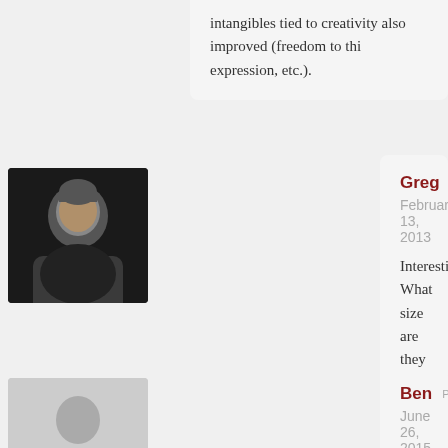intangibles tied to creativity also improved (freedom to think, expression, etc.).
[Figure (photo): Profile photo of Greg - man in black shirt against dark background]
Greg PERMALINK
February 13, 2013

Interesting. What size are they now?

– Greg
[Figure (illustration): Default user avatar silhouette placeholder]
Ben PERMALINK
June 26, 2015

Awesome article! Informal networks are often overlooked in organisations but they're so powerful for the transfer and flow of and ideas. It's something that can't be ignored. Promoting n good and some people are really good at it. For most others going up and introducing yourself to someone new for no r